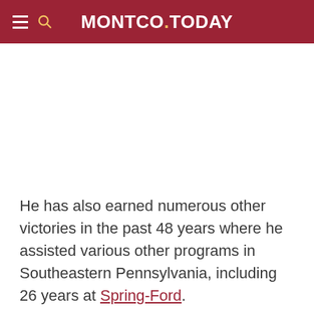MONTCO.TODAY
He has also earned numerous other victories in the past 48 years where he assisted various other programs in Southeastern Pennsylvania, including 26 years at Spring-Ford.
“One of the things about Steve is, he’s